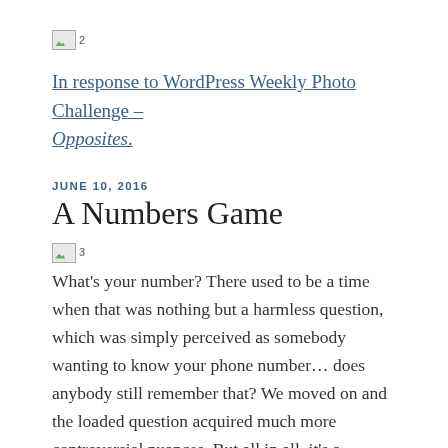[Figure (other): Broken image placeholder labeled '2']
In response to WordPress Weekly Photo Challenge – Opposites.
JUNE 10, 2016
A Numbers Game
[Figure (other): Broken image placeholder labeled '3']
What's your number? There used to be a time when that was nothing but a harmless question, which was simply perceived as somebody wanting to know your phone number… does anybody still remember that? We moved on and the loaded question acquired much more controversial nuances. But all in all, it's a numbers game from all points of view we soon got to learn it.